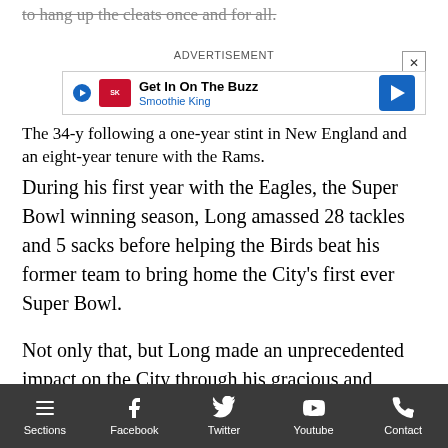to hang up the cleats once and for all.
[Figure (other): Advertisement banner: 'Get In On The Buzz - Smoothie King' with play button, logo, and arrow icon. ADVERTISEMENT label at top with close button X.]
The 34-y[ear-old decided to walk away from football] following a one-year stint in New England and an eight-year tenure with the Rams.
During his first year with the Eagles, the Super Bowl winning season, Long amassed 28 tackles and 5 sacks before helping the Birds beat his former team to bring home the City's first ever Super Bowl.
Not only that, but Long made an unprecedented impact on the City through his gracious and selfless charity work for the Chris Long Foundation, the donation of his entire 2017 salary to help educational equality, his kindness interacting with the community, and his impact in local communities. Long won the Walter Payton
Sections  Facebook  Twitter  Youtube  Contact